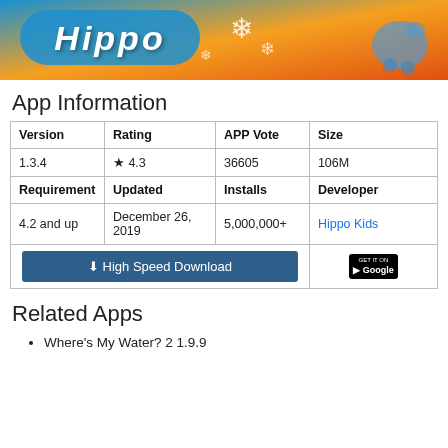[Figure (illustration): Hippo app banner image with cartoon hippo and snowflakes on colorful background, showing the word 'Hippo' in white bubble letters]
App Information
| Version | Rating | APP Vote | Size |
| --- | --- | --- | --- |
| 1.3.4 | ★ 4.3 | 36605 | 106M |
| Requirement | Updated | Installs | Developer |
| 4.2 and up | December 26, 2019 | 5,000,000+ | Hippo Kids |
Related Apps
Where's My Water? 2 1.9.9